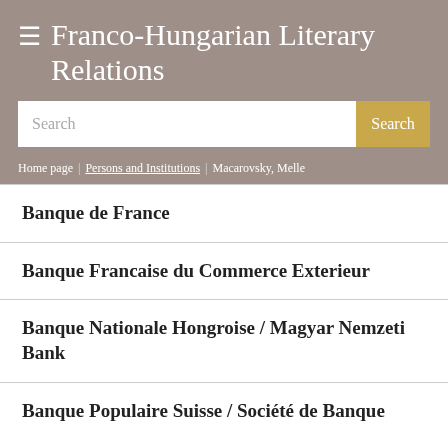≡ Franco-Hungarian Literary Relations
Search
Search
Home page > Persons and Institutions > Macarovsky, Melle
Banque de France
Banque Francaise du Commerce Exterieur
Banque Nationale Hongroise / Magyar Nemzeti Bank
Banque Populaire Suisse / Société de Banque